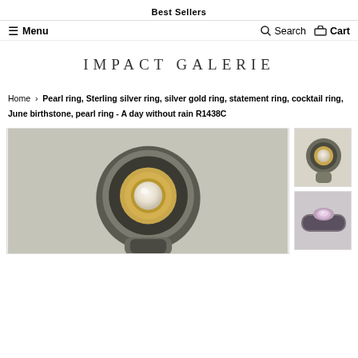Best Sellers
Menu   Search   Cart
[Figure (logo): Impact Galerie decorative text logo with ornamental asterisk symbols on each side]
Home › Pearl ring, Sterling silver ring, silver gold ring, statement ring, cocktail ring, June birthstone, pearl ring - A day without rain R1438C
[Figure (photo): Main product photo: close-up of pearl ring with oxidized silver outer band and gold inner setting holding a white pearl, viewed from top]
[Figure (photo): Thumbnail 1: pearl ring from side angle showing silver and gold band]
[Figure (photo): Thumbnail 2: pearl ring from another angle showing purple/lavender pearl in silver setting]